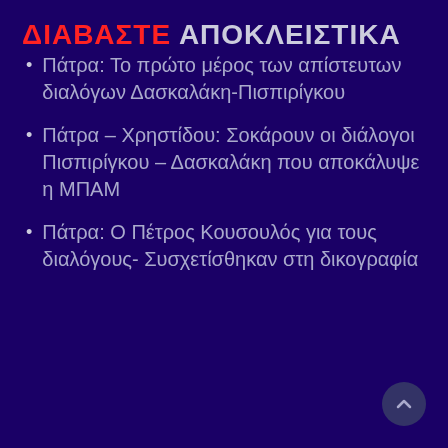ΔΙΑΒΑΣΤΕ ΑΠΟΚΛΕΙΣΤΙΚΑ
Πάτρα: Το πρώτο μέρος των απίστευτων διαλόγων Δασκαλάκη-Πισπιρίγκου
Πάτρα – Χρηστίδου: Σοκάρουν οι διάλογοι Πισπιρίγκου – Δασκαλάκη που αποκάλυψε η ΜΠΑΜ
Πάτρα: Ο Πέτρος Κουσουλός για τους διαλόγους- Συσχετίσθηκαν στη δικογραφία